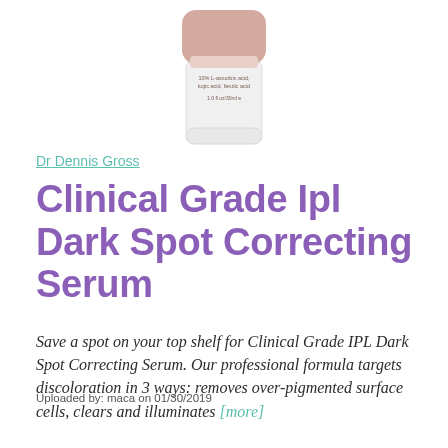[Figure (photo): Partial view of a skincare serum bottle with pink/rose gold cap and white body, showing product label text '10% L-ascorbic acid, kojic acid, ferulic acid' and '1.0 fl oz/30ml']
Dr Dennis Gross
Clinical Grade Ipl Dark Spot Correcting Serum
Save a spot on your top shelf for Clinical Grade IPL Dark Spot Correcting Serum. Our professional formula targets discoloration in 3 ways: removes over-pigmented surface cells, clears and illuminates [more]
Uploaded by: maca on 01/30/2019